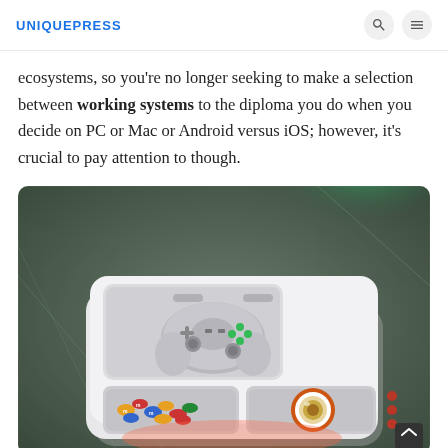UNIQUEPRESS
ecosystems, so you're no longer seeking to make a selection between working systems to the diploma you do when you decide on PC or Mac or Android versus iOS; however, it's crucial to pay attention to though.
[Figure (photo): A white gaming/entertainment tray box sitting on a grey sofa cushion. The tray contains a grey video game controller with green buttons on top, a compartment with colorful candy/M&Ms, and a small cup of coffee/espresso with an orange base. The box glows with green light from behind and pinkish-red light from the front. Dark background with tufted grey cushions.]